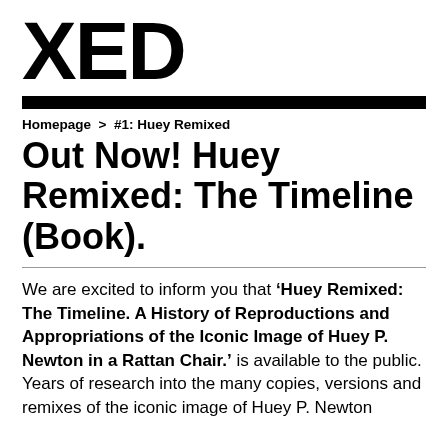XED
Homepage > #1: Huey Remixed
Out Now! Huey Remixed: The Timeline (Book).
We are excited to inform you that ‘Huey Remixed: The Timeline. A History of Reproductions and Appropriations of the Iconic Image of Huey P. Newton in a Rattan Chair.’ is available to the public. Years of research into the many copies, versions and remixes of the iconic image of Huey P. Newton